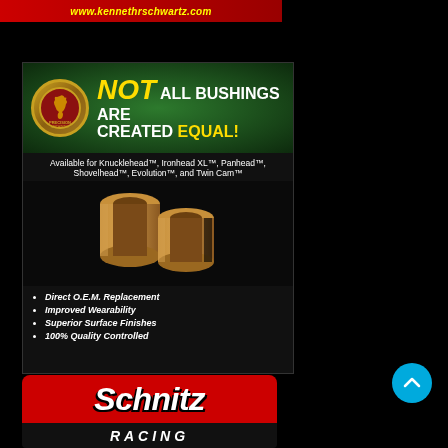[Figure (logo): Top banner with www.kennethrschwartz.com URL in yellow italic text on red background]
[Figure (infographic): Advertisement for precision bushings. Green dotted background header with logo oval and text: NOT ALL BUSHINGS ARE CREATED EQUAL! Available for Knucklehead™, Ironhead XL™, Panhead™, Shovelhead™, Evolution™, and Twin Cam™. Product photo of two bronze bushings. Bullet points: Direct O.E.M. Replacement, Improved Wearability, Superior Surface Finishes, 100% Quality Controlled.]
[Figure (logo): Schnitz Racing logo — red rounded top rectangle with white italic Schnitz text, black bottom bar with white italic RACING text in wide letter spacing]